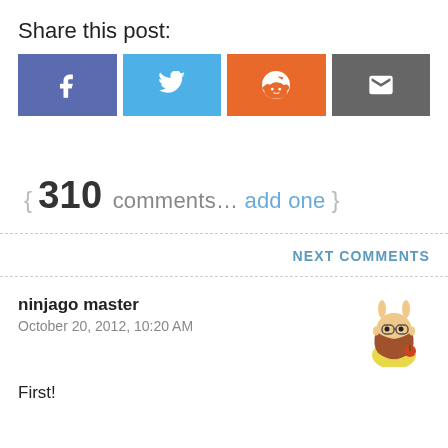Share this post:
[Figure (infographic): Four social share buttons: Facebook (blue-purple), Twitter (light blue), Reddit (orange), Email (dark grey), each with white icons]
{ 310 comments… add one }
NEXT COMMENTS
ninjago master
October 20, 2012, 10:20 AM
[Figure (illustration): Cartoon avatar of a bearded man in yellow shirt eating something]
First!